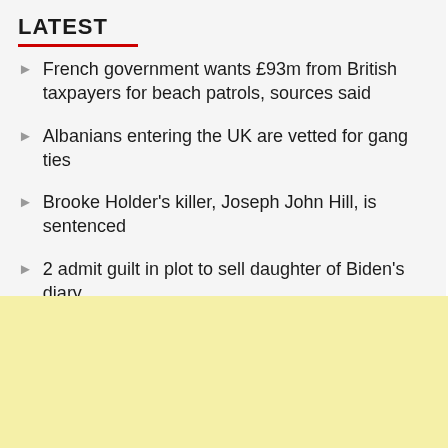LATEST
French government wants £93m from British taxpayers for beach patrols, sources said
Albanians entering the UK are vetted for gang ties
Brooke Holder's killer, Joseph John Hill, is sentenced
2 admit guilt in plot to sell daughter of Biden's diary
When it comes to the U.S. Open, Novak Djokovic must be completely immunized before he can compete
[Figure (other): Yellow advertisement block]